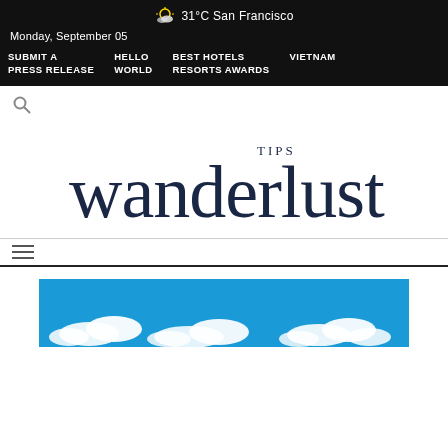☁ 31°C San Francisco
Monday, September 05
SUBMIT A PRESS RELEASE | HELLO WORLD | BEST HOTELS RESORTS AWARDS | VIETNAM
[Figure (logo): Wanderlust Tips logo — large serif wordmark 'wanderlust' in dark navy with 'TIPS' in small caps above]
[Figure (photo): Sky photo with blue sky and white clouds at the bottom of the page]